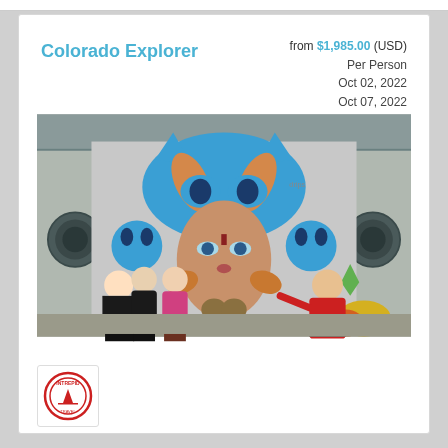Colorado Explorer
from $1,985.00 (USD)
Per Person
Oct 02, 2022
Oct 07, 2022
[Figure (photo): People viewing a large colorful street art mural featuring a woman's face with a mechanical cat headdress; a man in a red hoodie points at the mural while several others look on.]
[Figure (logo): Intrepid Travel circular stamp logo in red]